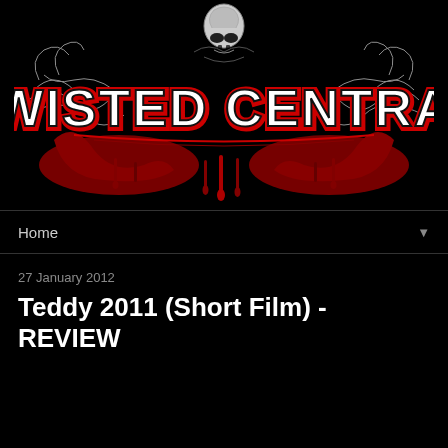[Figure (logo): Twisted Central logo with skull and ornate red and black gothic decorative elements, white text reading TWISTED CENTRAL]
Home ▼
27 January 2012
Teddy 2011 (Short Film) - REVIEW